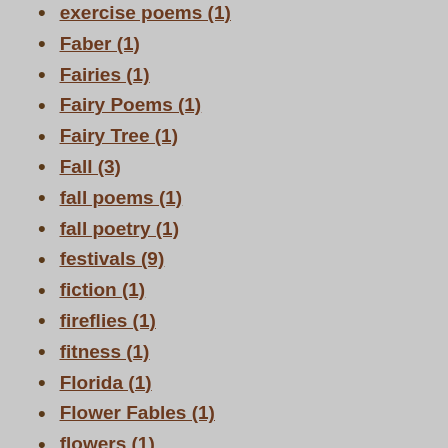exercise poems (1)
Faber (1)
Fairies (1)
Fairy Poems (1)
Fairy Tree (1)
Fall (3)
fall poems (1)
fall poetry (1)
festivals (9)
fiction (1)
fireflies (1)
fitness (1)
Florida (1)
Flower Fables (1)
flowers (1)